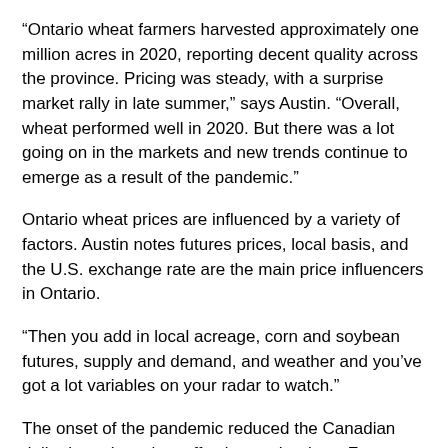“Ontario wheat farmers harvested approximately one million acres in 2020, reporting decent quality across the province. Pricing was steady, with a surprise market rally in late summer,” says Austin. “Overall, wheat performed well in 2020. But there was a lot going on in the markets and new trends continue to emerge as a result of the pandemic.”
Ontario wheat prices are influenced by a variety of factors. Austin notes futures prices, local basis, and the U.S. exchange rate are the main price influencers in Ontario.
“Then you add in local acreage, corn and soybean futures, supply and demand, and weather and you’ve got a lot variables on your radar to watch.”
The onset of the pandemic reduced the Canadian dollar in early spring, affecting cash prices. From there, a series of other market influencers began as a result of COVID-19. Reduced demand for oil and gas saw prices for ethanol